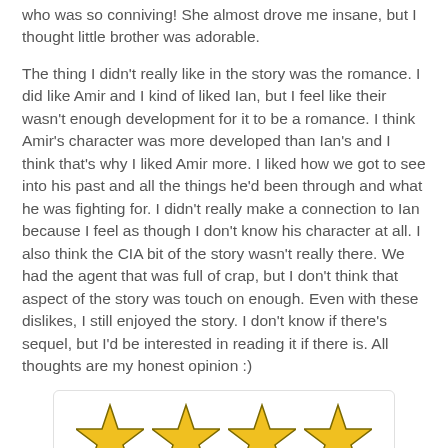who was so conniving! She almost drove me insane, but I thought little brother was adorable.
The thing I didn't really like in the story was the romance. I did like Amir and I kind of liked Ian, but I feel like their wasn't enough development for it to be a romance. I think Amir's character was more developed than Ian's and I think that's why I liked Amir more. I liked how we got to see into his past and all the things he'd been through and what he was fighting for. I didn't really make a connection to Ian because I feel as though I don't know his character at all. I also think the CIA bit of the story wasn't really there. We had the agent that was full of crap, but I don't think that aspect of the story was touch on enough. Even with these dislikes, I still enjoyed the story. I don't know if there's sequel, but I'd be interested in reading it if there is. All thoughts are my honest opinion :)
[Figure (other): Four gold/yellow star rating symbols arranged horizontally in a rounded rectangle box, representing a 4-star rating.]